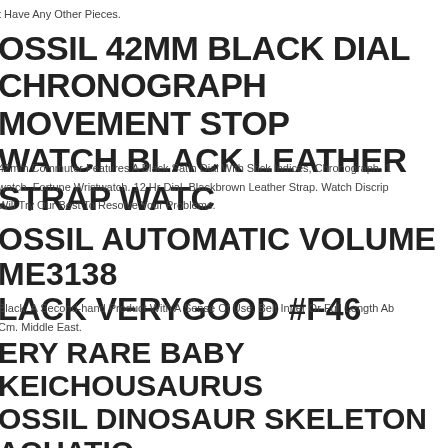t Have Any Other Pieces.
OSSIL 42MM BLACK DIAL CHRONOGRAPH MOVEMENT STOP WATCH BLACK LEATHER STRAP WATCH
42mm Commuter Features A Black Satin Dial With Stick Indices, Chronograph. 1 watch. Fortune Wristwatch. 12 Hr Dial. Blackbrown Leather Strap. Watch Discrip Will Try Our Best To Resolve Your Problems.
OSSIL AUTOMATIC VOLUME ME3138 LACK VERYGOOD #F46
Black. A Second-hand Product With A Sense Of Use. Belt Inner Or Full Length Ab Cm. Middle East.
ERY RARE BABY KEICHOUSAURUS OSSIL DINOSAUR SKELETON AQUATIC ZARD REPTILE...